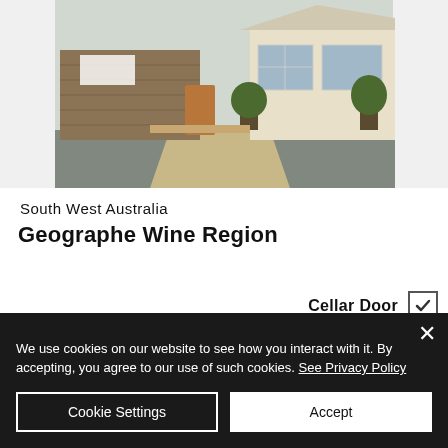[Figure (photo): Exterior photo of a winery/cellar door building with wooden facade, plants and gravel driveway]
South West Australia
Geographe Wine Region
Cellar Door ☑
Food Available ☑
Restaurant ☑
By Appointment Only ☐
We use cookies on our website to see how you interact with it. By accepting, you agree to our use of such cookies. See Privacy Policy
Cookie Settings | Accept